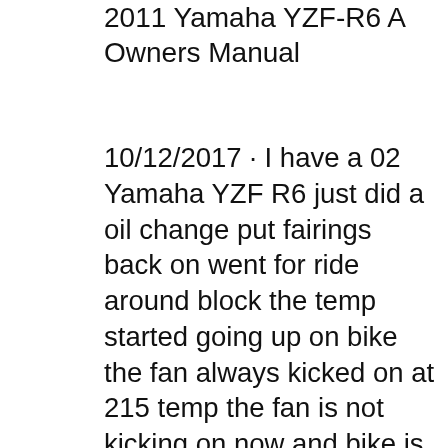2011 Yamaha YZF-R6 A Owners Manual
10/12/2017 · I have a 02 Yamaha YZF R6 just did a oil change put fairings back on went for ride around block the temp started going up on bike the fan always kicked on at 215 temp the fan is not kicking on now and bike is reaching 250 and over heat light comes on checked the fan fuse under seat fuse is still... 2002 Yamaha YZF-R6 P Owners Manual 2003 Yamaha YZF-R6 R Owners Manual 2004 Yamaha YZF-R6 S Owners Manual 2005 Yamaha YZF-R6 T Owners Manual 2006 Yamaha YZF-R6 V Owners Manual 2007 Yamaha YZF-R6 W Owners Manual 2008 Yamaha YZF-R6 X Owners